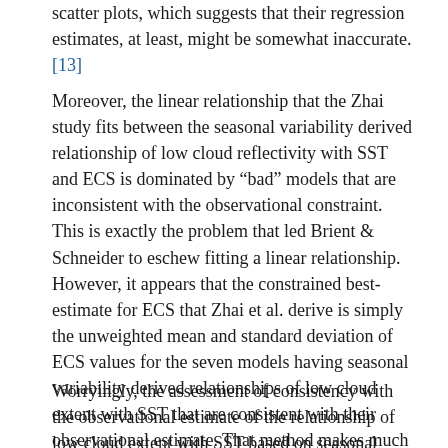scatter plots, which suggests that their regression estimates, at least, might be somewhat inaccurate.[13]
Moreover, the linear relationship that the Zhai study fits between the seasonal variability derived relationship of low cloud reflectivity with SST and ECS is dominated by “bad” models that are inconsistent with the observational constraint. This is exactly the problem that led Brient & Schneider to eschew fitting a linear relationship. However, it appears that the constrained best-estimate for ECS that Zhai et al. derive is simply the unweighted mean and standard deviation of ECS values for the seven models having seasonal variability derived relationships of low cloud extent with SST that are consistent with their observational estimate. That method makes much less allowance for uncertainty than does Brient & Schneider’s methodology, and accounts for the Zhai constraint on ECs being narrow.
Worryingly, the assessment of consistency with the observational estimate of the relationship of low cloud extent with SST based on seasonal variability differs